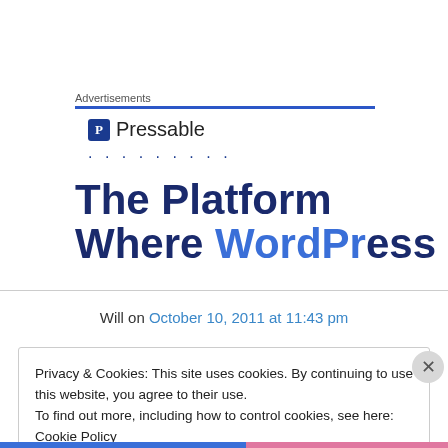Advertisements
[Figure (logo): Pressable logo with blue shield icon and text 'Pressable', followed by a dotted line]
The Platform Where WordPress
Will on October 10, 2011 at 11:43 pm
Privacy & Cookies: This site uses cookies. By continuing to use this website, you agree to their use.
To find out more, including how to control cookies, see here: Cookie Policy